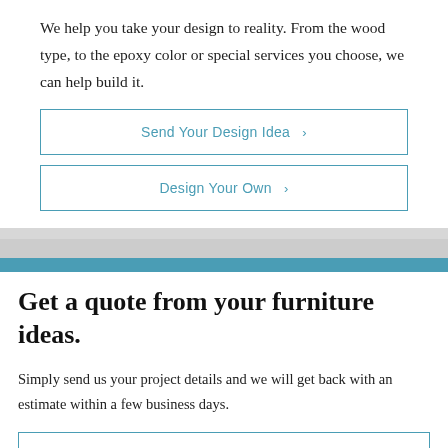We help you take your design to reality. From the wood type, to the epoxy color or special services you choose, we can help build it.
Send Your Design Idea  >
Design Your Own  >
Get a quote from your furniture ideas.
Simply send us your project details and we will get back with an estimate within a few business days.
Request A Quote  >